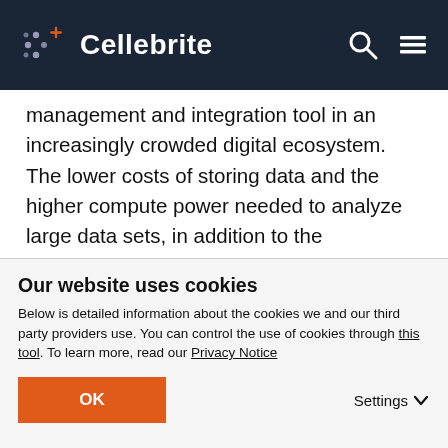Cellebrite
management and integration tool in an increasingly crowded digital ecosystem. The lower costs of storing data and the higher compute power needed to analyze large data sets, in addition to the functionality built into cloud platforms, make the cloud preferable for data storage, integration, analysis, and sharing. Cloud functions synergistically with AI and ML to advance DX and reinvention
Our website uses cookies
Below is detailed information about the cookies we and our third party providers use. You can control the use of cookies through this tool. To learn more, read our Privacy Notice
OK
Settings